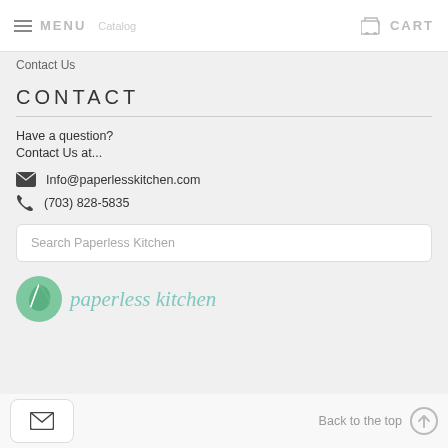MENU  CART
Contact Us
CONTACT
Have a question?
Contact Us at...
Info@paperlesskitchen.com
(703) 828-5835
Search Paperless Kitchen
[Figure (logo): Paperless Kitchen logo with green leaf circle and italic text]
Back to the top